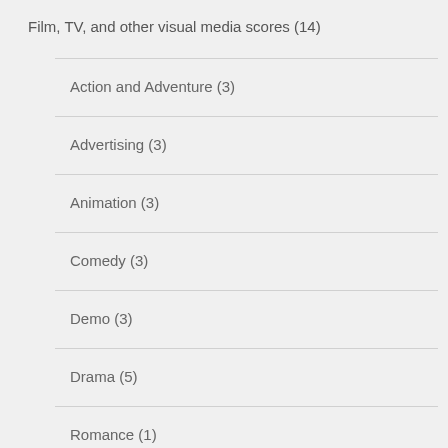Film, TV, and other visual media scores (14)
Action and Adventure (3)
Advertising (3)
Animation (3)
Comedy (3)
Demo (3)
Drama (5)
Romance (1)
Science Fiction (3)